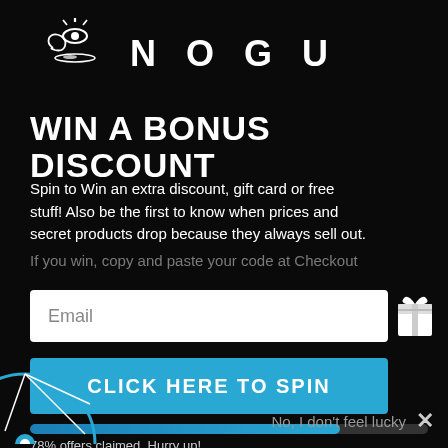[Figure (logo): NOGU brand logo with stylized N and eye symbol above, text NOGU with wide letter spacing]
WIN A BONUS DISCOUNT
Spin to Win an extra discount, gift card or free stuff! Also be the first to know when prices and secret products drop because they always sell out.
If you win, copy and paste your code at Checkout
Email
CLICK HERE TO SPIN
78% offers claimed. Hurry up!
No, I don't feel lucky